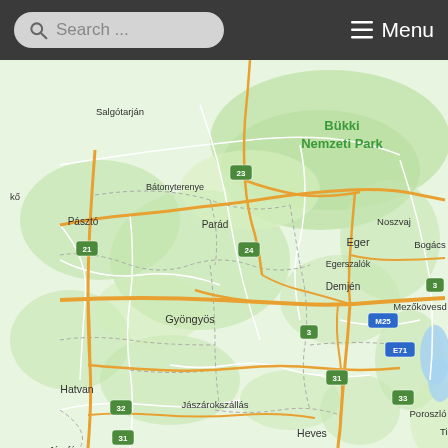[Figure (map): Google Maps style road map of north-central Hungary showing cities: Salgótarján, Bátonyterenye, Pásztó, Parád, Eger, Noszvaj, Bogács, Egerszalók, Demjén, Mezőkövesd, Gyöngyös, Hatvan, Jászárokszállás, Jászfényszaru, Jászberény, Jászapáti, Jászkisér, Heves, Poroszló, Abádszalók, Nagykáta, Kunhegyes. Features Bükki Nemzeti Park label, road numbers 21, 23, 24, 3, M25, E71, 31, 32, 33, and a lake (Tisza) in the bottom right corner. Green terrain with orange/yellow roads and white regional roads.]
Search ...   ≡ Menu